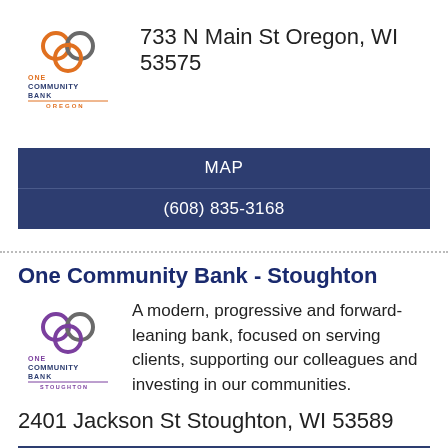[Figure (logo): One Community Bank Oregon logo]
733 N Main St Oregon, WI 53575
MAP
(608) 835-3168
One Community Bank - Stoughton
[Figure (logo): One Community Bank Stoughton logo]
A modern, progressive and forward-leaning bank, focused on serving clients, supporting our colleagues and investing in our communities.
2401 Jackson St Stoughton, WI 53589
MAP
(608) 873-8310